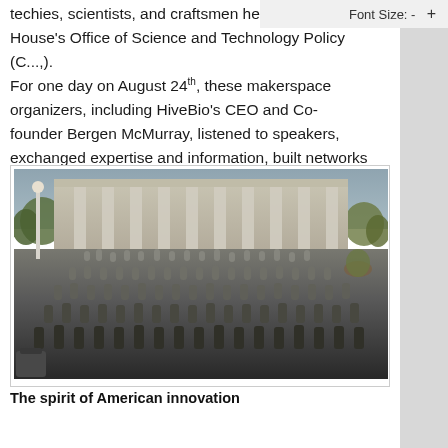Font Size: - +
techies, scientists, and craftsmen held by the White House's Office of Science and Technology Policy (C...,). For one day on August 24th, these makerspace organizers, including HiveBio's CEO and Co-founder Bergen McMurray, listened to speakers, exchanged expertise and information, built networks of collaborators, and advance the standing of makerspaces within the U.S.
[Figure (photo): Large group photo of makerspace organizers standing on the steps of a neoclassical government building with tall columns. Hundreds of attendees pose for the group photo on the grand staircase.]
The spirit of American innovation